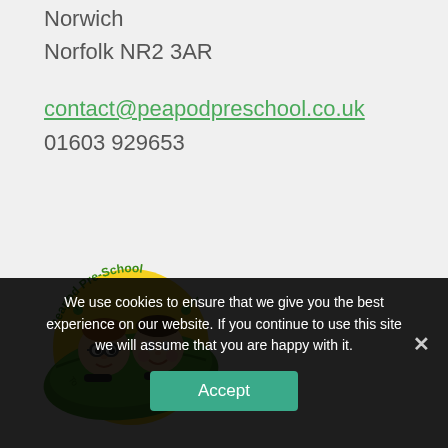Norwich
Norfolk NR2 3AR
contact@peapodpreschool.co.uk
01603 929653
[Figure (logo): Peapod Pre-School circular logo with two cartoon children peeking out of a green pea pod, yellow circle background, green text reading 'Peapod Pre-School' around the top, and additional text around the bottom.]
We use cookies to ensure that we give you the best experience on our website. If you continue to use this site we will assume that you are happy with it.